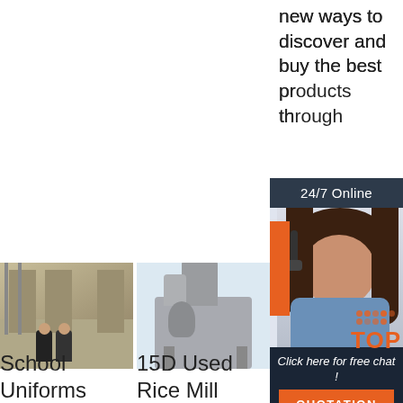new ways to discover and buy the best products through
[Figure (infographic): 24/7 Online chat popup with dark background, agent photo wearing headset, orange accent bar, 'Click here for free chat!' text, and orange QUOTATION button]
[Figure (photo): School uniforms factory/industrial equipment photo with two people standing in front]
School Uniforms
[Figure (photo): 15D Used Rice Mill machine equipment on white/light blue background]
15D Used Rice Mill
[Figure (photo): High-Capacity product photo partial view]
High-Capacity